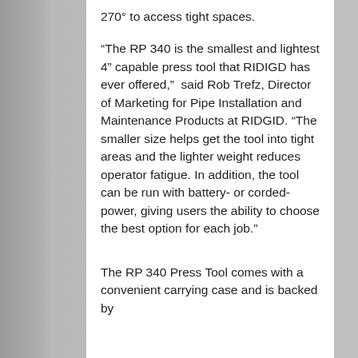270° to access tight spaces.
“The RP 340 is the smallest and lightest 4” capable press tool that RIDIGD has ever offered,”  said Rob Trefz, Director of Marketing for Pipe Installation and Maintenance Products at RIDGID. “The smaller size helps get the tool into tight areas and the lighter weight reduces operator fatigue. In addition, the tool can be run with battery- or corded-power, giving users the ability to choose the best option for each job.”
The RP 340 Press Tool comes with a convenient carrying case and is backed by